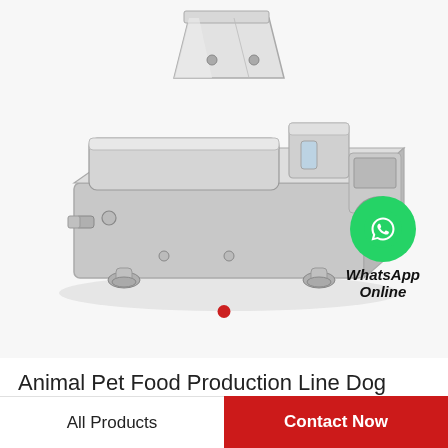[Figure (photo): Stainless steel animal pet food / fish feed making machine extrusion production line equipment, photographed at an angle showing hopper, barrel, and cutting mechanism.]
Animal Pet Food Production Line Dog Food Machine Fish Feed Making Machine
WhatsApp Online
All Products   Contact Now